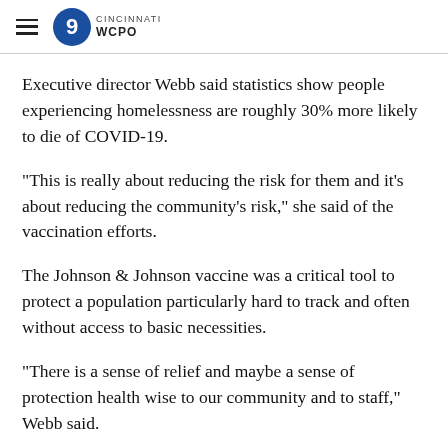WCPO CINCINNATI
Executive director Webb said statistics show people experiencing homelessness are roughly 30% more likely to die of COVID-19.
"This is really about reducing the risk for them and it's about reducing the community's risk," she said of the vaccination efforts.
The Johnson & Johnson vaccine was a critical tool to protect a population particularly hard to track and often without access to basic necessities.
"There is a sense of relief and maybe a sense of protection health wise to our community and to staff," Webb said.